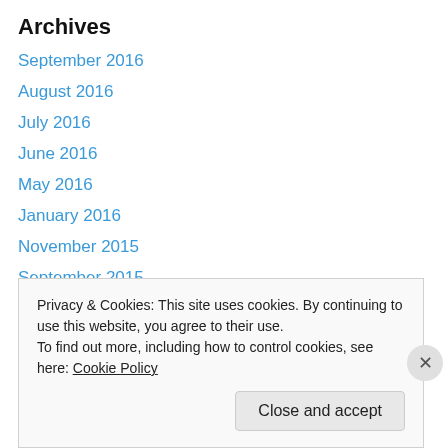Archives
September 2016
August 2016
July 2016
June 2016
May 2016
January 2016
November 2015
September 2015
August 2015
July 2015
June 2015
May 2015
Privacy & Cookies: This site uses cookies. By continuing to use this website, you agree to their use.
To find out more, including how to control cookies, see here: Cookie Policy
Close and accept